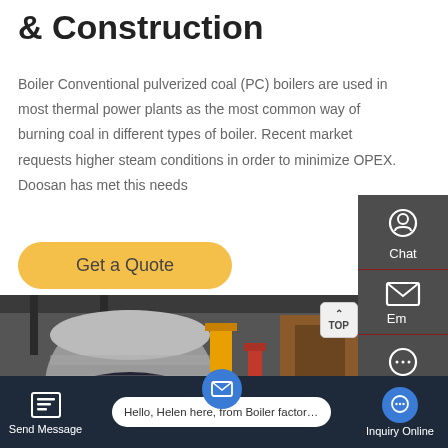& Construction
Boiler Conventional pulverized coal (PC) boilers are used in most thermal power plants as the most common way of burning coal in different types of boiler. Recent market requests higher steam conditions in order to minimize OPEX. Doosan has met this needs
[Figure (other): Yellow rounded 'Get a Quote' button]
[Figure (photo): Industrial boiler equipment photo showing large tanks, yellow and red pipes inside a factory setting]
[Figure (other): Right sidebar with dark gray background showing Chat (headset icon), Email (envelope icon), and Contact (speech bubble icon) options, plus TOP button overlay]
[Figure (other): Bottom navigation bar with Send Message, chat bubble saying 'Hello, Helen here, from Boiler factory', and Inquiry Online with chat circle icon]